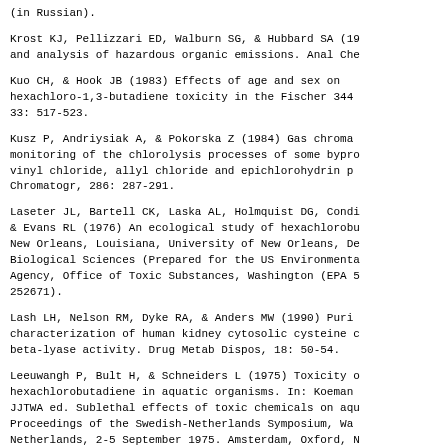(in Russian).
Krost KJ, Pellizzari ED, Walburn SG, & Hubbard SA (19... and analysis of hazardous organic emissions. Anal Che...
Kuo CH, & Hook JB (1983) Effects of age and sex on hexachloro-1,3-butadiene toxicity in the Fischer 344... 33: 517-523.
Kusz P, Andriysiak A, & Pokorska Z (1984) Gas chroma... monitoring of the chlorolysis processes of some bypro... vinyl chloride, allyl chloride and epichlorohydrin p... Chromatogr, 286: 287-291.
Laseter JL, Bartell CK, Laska AL, Holmquist DG, Cond... & Evans RL (1976) An ecological study of hexachlorobu... New Orleans, Louisiana, University of New Orleans, De... Biological Sciences (Prepared for the US Environmenta... Agency, Office of Toxic Substances, Washington (EPA 5... 252671).
Lash LH, Nelson RM, Dyke RA, & Anders MW (1990) Puri... characterization of human kidney cytosolic cysteine c... beta-lyase activity. Drug Metab Dispos, 18: 50-54.
Leeuwangh P, Bult H, & Schneiders L (1975) Toxicity o... hexachlorobutadiene in aquatic organisms. In: Koeman... JJTWA ed. Sublethal effects of toxic chemicals on aqu... Proceedings of the Swedish-Netherlands Symposium, Wa... Netherlands, 2-5 September 1975. Amsterdam, Oxford, N... Elsevier Science Publishers, pp 167-176.